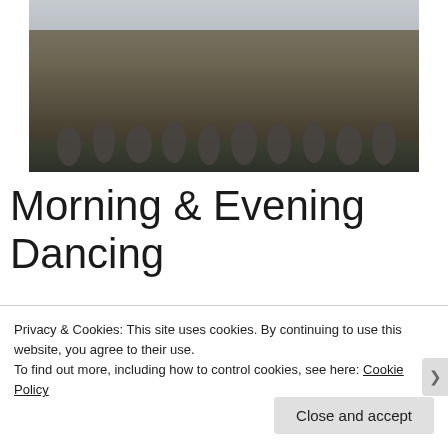[Figure (photo): Group of people exercising or dancing outdoors near a waterfront, palm trees and flagpoles visible in background, overcast sky]
Morning & Evening Dancing
Privacy & Cookies: This site uses cookies. By continuing to use this website, you agree to their use.
To find out more, including how to control cookies, see here: Cookie Policy